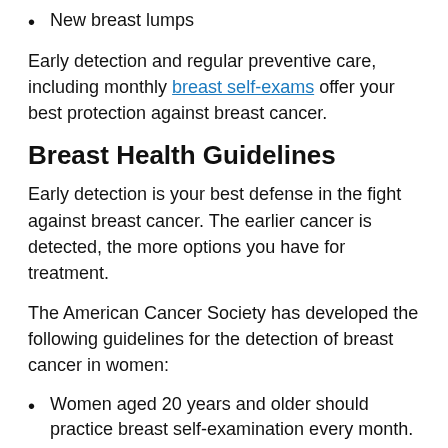New breast lumps
Early detection and regular preventive care, including monthly breast self-exams offer your best protection against breast cancer.
Breast Health Guidelines
Early detection is your best defense in the fight against breast cancer. The earlier cancer is detected, the more options you have for treatment.
The American Cancer Society has developed the following guidelines for the detection of breast cancer in women:
Women aged 20 years and older should practice breast self-examination every month.